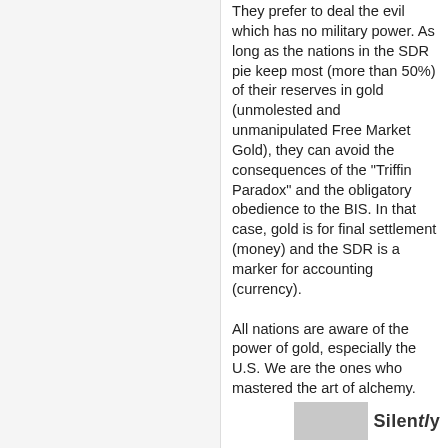They prefer to deal the evil which has no military power. As long as the nations in the SDR pie keep most (more than 50%) of their reserves in gold (unmolested and unmanipulated Free Market Gold), they can avoid the consequences of the "Triffin Paradox" and the obligatory obedience to the BIS. In that case, gold is for final settlement (money) and the SDR is a marker for accounting (currency). All nations are aware of the power of gold, especially the U.S. We are the ones who mastered the art of alchemy.
[Figure (other): Partial footer image showing a grey rectangle (book cover thumbnail) and text 'Silently' in bold]